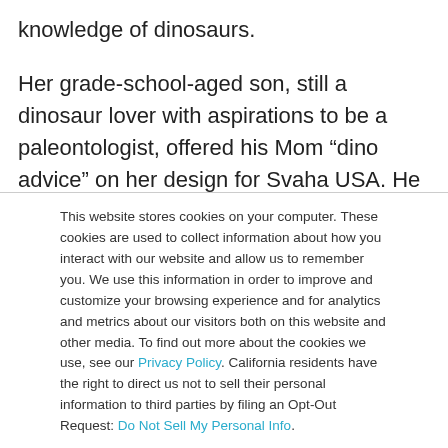knowledge of dinosaurs.
Her grade-school-aged son, still a dinosaur lover with aspirations to be a paleontologist, offered his Mom “dino advice” on her design for Svaha USA. He picked out his four favorite dinosaurs to include in the design and provided her with an accurate depiction for each in her Dinos in Space
This website stores cookies on your computer. These cookies are used to collect information about how you interact with our website and allow us to remember you. We use this information in order to improve and customize your browsing experience and for analytics and metrics about our visitors both on this website and other media. To find out more about the cookies we use, see our Privacy Policy. California residents have the right to direct us not to sell their personal information to third parties by filing an Opt-Out Request: Do Not Sell My Personal Info.
Accept